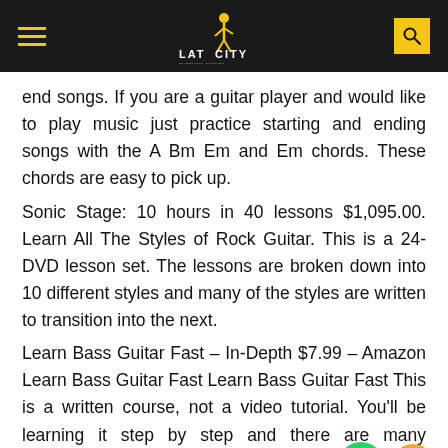LAT CITY [logo header with hamburger menu and search]
end songs. If you are a guitar player and would like to play music just practice starting and ending songs with the A Bm Em and Em chords. These chords are easy to pick up.
Sonic Stage: 10 hours in 40 lessons $1,095.00. Learn All The Styles of Rock Guitar. This is a 24-DVD lesson set. The lessons are broken down into 10 different styles and many of the styles are written to transition into the next.
Learn Bass Guitar Fast – In-Depth $7.99 – Amazon Learn Bass Guitar Fast Learn Bass Guitar Fast This is a written course, not a video tutorial. You'll be learning it step by step and there are many exercises to